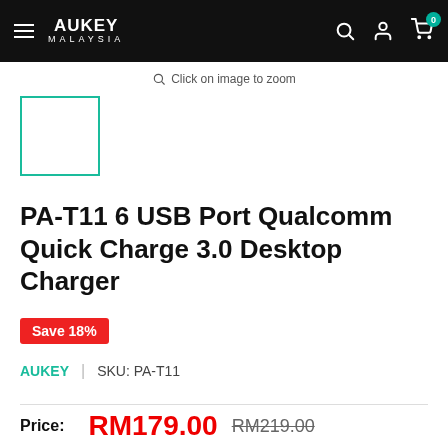AUKEY MALAYSIA
Click on image to zoom
[Figure (other): Product thumbnail placeholder — teal/cyan bordered empty square]
PA-T11 6 USB Port Qualcomm Quick Charge 3.0 Desktop Charger
Save 18%
AUKEY | SKU: PA-T11
Price: RM179.00  RM219.00